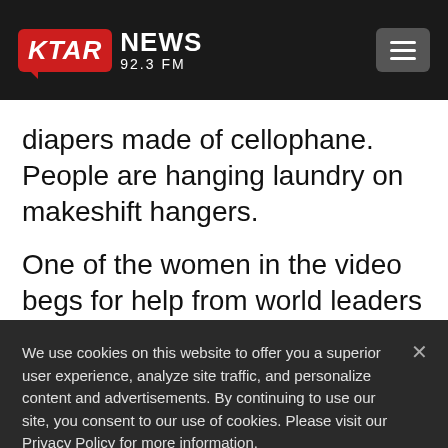KTAR NEWS 92.3 FM
diapers made of cellophane. People are hanging laundry on makeshift hangers.
One of the women in the video begs for help from world leaders and says she and others stuck under the plant are tired of the
We use cookies on this website to offer you a superior user experience, analyze site traffic, and personalize content and advertisements. By continuing to use our site, you consent to our use of cookies. Please visit our Privacy Policy for more information.
Accept Cookies